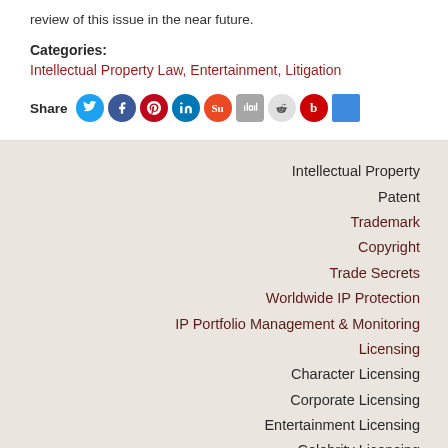review of this issue in the near future.
Categories: Intellectual Property Law, Entertainment, Litigation
[Figure (other): Share icons row: Twitter, Facebook, Pinterest, LinkedIn, StumbleUpon, Digg, Reddit, Beatport, Delicious]
Intellectual Property
Patent
Trademark
Copyright
Trade Secrets
Worldwide IP Protection
IP Portfolio Management & Monitoring
Licensing
Character Licensing
Corporate Licensing
Entertainment Licensing
Celebrity Licensing
Patent & Technology Licensing